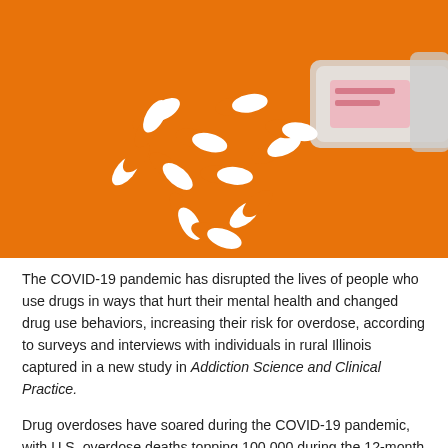[Figure (photo): Orange and white capsule pills spilled out of a clear prescription pill bottle, scattered on an orange background.]
The COVID-19 pandemic has disrupted the lives of people who use drugs in ways that hurt their mental health and changed drug use behaviors, increasing their risk for overdose, according to surveys and interviews with individuals in rural Illinois captured in a new study in Addiction Science and Clinical Practice.
Drug overdoses have soared during the COVID-19 pandemic, with U.S. overdose deaths topping 100,000 during the 12-month